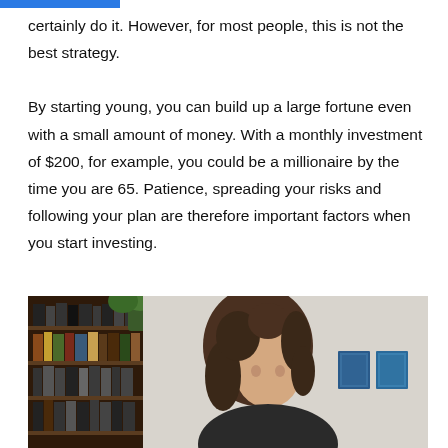certainly do it. However, for most people, this is not the best strategy.

By starting young, you can build up a large fortune even with a small amount of money. With a monthly investment of $200, for example, you could be a millionaire by the time you are 65. Patience, spreading your risks and following your plan are therefore important factors when you start investing.
[Figure (photo): A young woman with curly hair looking down, seated at a desk, with a bookshelf and plant in the background and two blue framed pictures on the wall.]